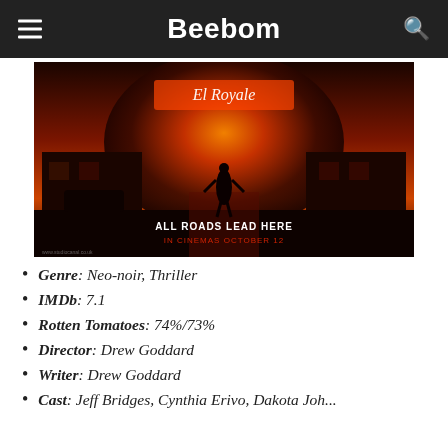Beebom
[Figure (photo): Movie poster for Bad Times at the El Royale. A silhouetted woman stands in the middle of a motel driveway lit by orange-red neon light. Text reads 'ALL ROADS LEAD HERE' and 'IN CINEMAS OCTOBER 12'.]
Genre: Neo-noir, Thriller
IMDb: 7.1
Rotten Tomatoes: 74%/73%
Director: Drew Goddard
Writer: Drew Goddard
Cast: Jeff Bridges, Cynthia Erivo, Dakota Johnson...